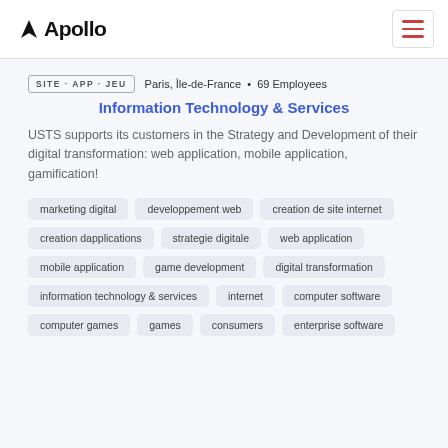Apollo
SITE · APP · JEU   Paris, Île-de-France • 69 Employees
Information Technology & Services
USTS supports its customers in the Strategy and Development of their digital transformation: web application, mobile application, gamification!
marketing digital
developpement web
creation de site internet
creation dapplications
strategie digitale
web application
mobile application
game development
digital transformation
information technology & services
internet
computer software
computer games
games
consumers
enterprise software